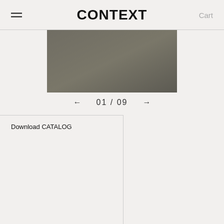CONTEXT | Cart
[Figure (photo): A rectangular product image with a dark olive/grey gradient background, cropped at the top showing only the lower portion.]
← 01 / 09 →
Download CATALOG